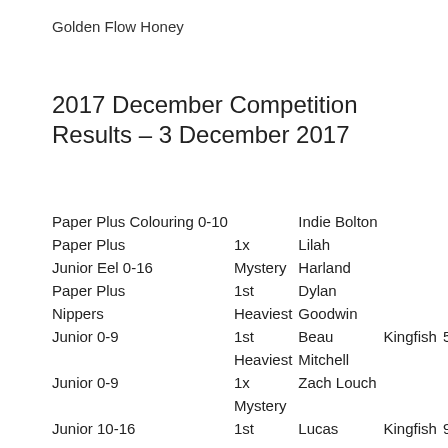Golden Flow Honey
2017 December Competition Results – 3 December 2017
| Category | Award | Name | Species | Weight |
| --- | --- | --- | --- | --- |
| Paper Plus Colouring 0-10 |  | Indie Bolton |  |  |
| Paper Plus | 1x | Lilah |  |  |
| Junior Eel 0-16 | Mystery | Harland |  |  |
| Paper Plus | 1st | Dylan |  |  |
| Nippers | Heaviest | Goodwin |  |  |
| Junior 0-9 | 1st | Beau | Kingfish | 5.190 |
|  | Heaviest | Mitchell |  | kg |
| Junior 0-9 | 1x | Zach Louch |  |  |
|  | Mystery |  |  |  |
| Junior 10-16 | 1st | Lucas | Kingfish | 9.500 |